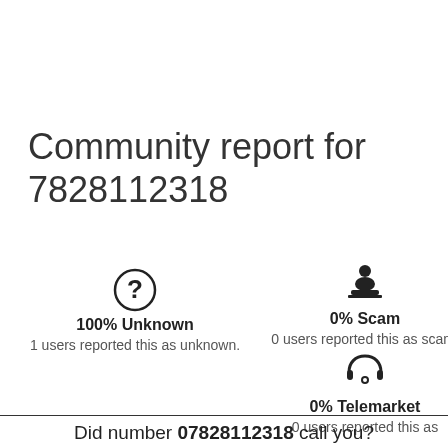Community report for 7828112318
100% Unknown
1 users reported this as unknown.
0% Scam
0 users reported this as scam.
0% Telemarket
0 users reported this as
Did number 07828112318 call you?
Please describe your experience, it may help other users.
Add comment
Close